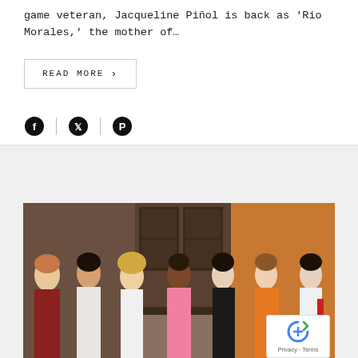game veteran, Jacqueline Piñol is back as 'Rio Morales,' the mother of…
READ MORE >
[Figure (other): Social media share icons: Facebook, Twitter, Pinterest]
[Figure (photo): Group photo of seven women posing together indoors at an event. Women are wearing various outfits including formal and cosplay-style clothing. One woman on the far right is wearing a white hooded costume.]
Privacy · Terms